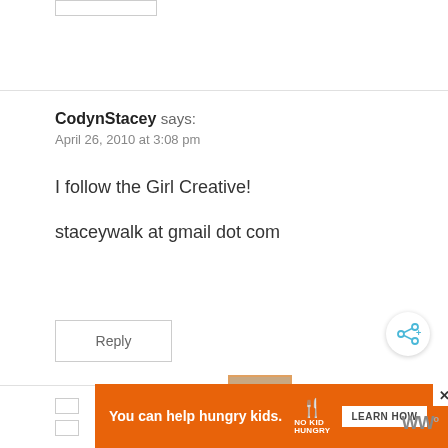[Figure (other): Small rectangular placeholder box at top left]
CodynStacey says:
April 26, 2010 at 3:08 pm
I follow the Girl Creative!
staceywalk at gmail dot com
Reply
[Figure (other): Share button icon (circle with share symbol)]
[Figure (other): WHAT'S NEXT panel with thumbnail image and text FREE PRINTABLE...]
[Figure (other): Advertisement banner: You can help hungry kids. No Kid Hungry. LEARN HOW.]